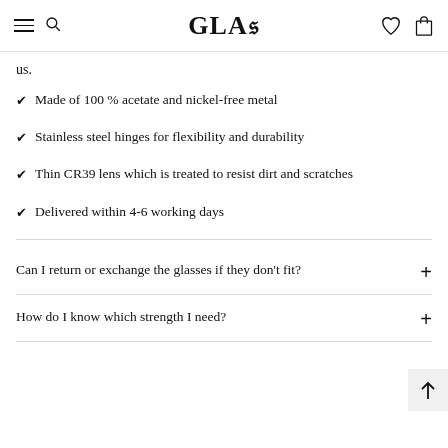GLAS
us.
Made of 100 % acetate and nickel-free metal
Stainless steel hinges for flexibility and durability
Thin CR39 lens which is treated to resist dirt and scratches
Delivered within 4-6 working days
Can I return or exchange the glasses if they don't fit?
How do I know which strength I need?